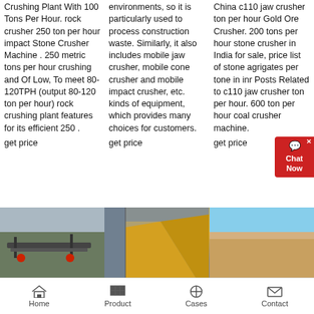Crushing Plant With 100 Tons Per Hour. rock crusher 250 ton per hour impact Stone Crusher Machine . 250 metric tons per hour crushing and Of Low, To meet 80-120TPH (output 80-120 ton per hour) rock crushing plant features for its efficient 250 .
get price
environments, so it is particularly used to process construction waste. Similarly, it also includes mobile jaw crusher, mobile cone crusher and mobile impact crusher, etc. kinds of equipment, which provides many choices for customers.
get price
China c110 jaw crusher ton per hour Gold Ore Crusher. 200 tons per hour stone crusher in India for sale, price list of stone agrigates per tone in inr Posts Related to c110 jaw crusher ton per hour. 600 ton per hour coal crusher machine.
get price
[Figure (photo): Photo of a rock crushing plant/conveyor machinery in outdoor setting]
[Figure (photo): Photo showing yellow/orange crushing or mining equipment]
[Figure (photo): Photo showing blue sky above sandy/rocky terrain or quarry]
Home  Product  Cases  Contact